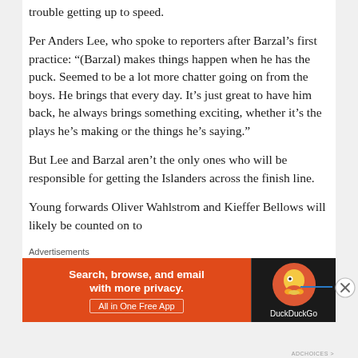trouble getting up to speed.
Per Anders Lee, who spoke to reporters after Barzal’s first practice: “(Barzal) makes things happen when he has the puck. Seemed to be a lot more chatter going on from the boys. He brings that every day. It’s just great to have him back, he always brings something exciting, whether it’s the plays he’s making or the things he’s saying.”
But Lee and Barzal aren’t the only ones who will be responsible for getting the Islanders across the finish line.
Young forwards Oliver Wahlstrom and Kieffer Bellows will likely be counted on to
Advertisements
[Figure (infographic): DuckDuckGo advertisement banner: orange left side with text 'Search, browse, and email with more privacy. All in One Free App', dark right side with DuckDuckGo duck logo and brand name.]